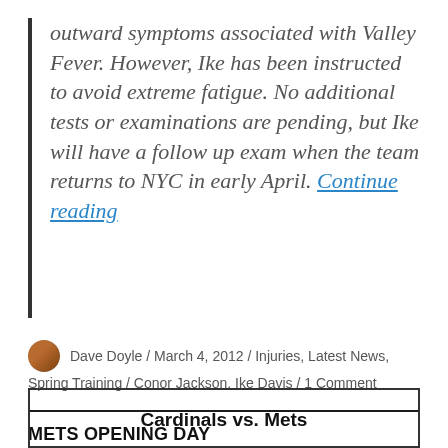outward symptoms associated with Valley Fever. However, Ike has been instructed to avoid extreme fatigue. No additional tests or examinations are pending, but Ike will have a follow up exam when the team returns to NYC in early April. Continue reading
Dave Doyle / March 4, 2012 / Injuries, Latest News, Spring Training / Conor Jackson, Ike Davis / 1 Comment
METS OPENING DAY
Cardinals vs. Mets